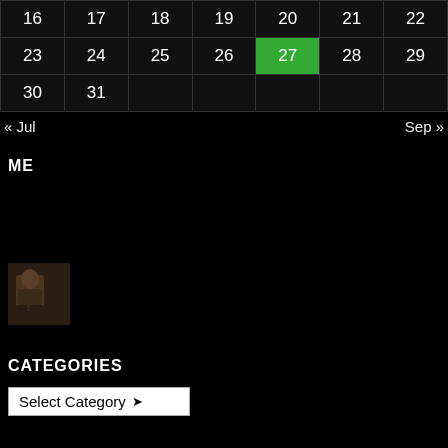|  |  |  |  |  |  |  |
| --- | --- | --- | --- | --- | --- | --- |
| 16 | 17 | 18 | 19 | 20 | 21 | 22 |
| 23 | 24 | 25 | 26 | 27 | 28 | 29 |
| 30 | 31 |  |  |  |  |  |
« Jul    Sep »
ME
[Figure (photo): Small thumbnail photo of a person seated, dark tones]
CATEGORIES
Select Category ▾